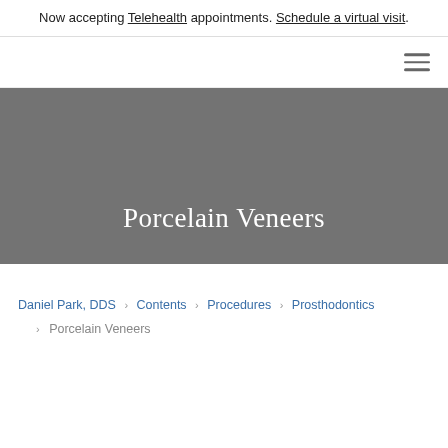Now accepting Telehealth appointments. Schedule a virtual visit.
[Figure (other): Navigation bar with hamburger menu icon on the right]
Porcelain Veneers
Daniel Park, DDS > Contents > Procedures > Prosthodontics > Porcelain Veneers